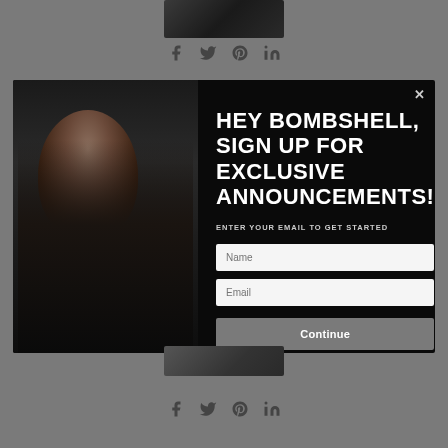[Figure (screenshot): Partial image at top of page, dark/grayscale]
[Figure (infographic): Social share icons row: Facebook, Twitter, Pinterest, LinkedIn]
[Figure (photo): Modal popup overlay with dark background. Left half shows portrait of a woman with long dark hair wearing a leather outfit. Right half contains text and form fields.]
HEY BOMBSHELL, SIGN UP FOR EXCLUSIVE ANNOUNCEMENTS!
ENTER YOUR EMAIL TO GET STARTED
Name
Email
Continue
[Figure (screenshot): Partial image at bottom of page, dark/grayscale]
[Figure (infographic): Social share icons row bottom: Facebook, Twitter, Pinterest, LinkedIn]